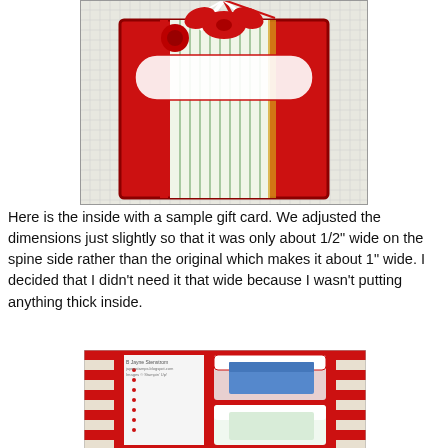[Figure (photo): Top view of a decorative gift card holder with red and striped paper, ribbon bow, and embellishments on a grid background.]
Here is the inside with a sample gift card. We adjusted the dimensions just slightly so that it was only about 1/2" wide on the spine side rather than the original which makes it about 1" wide. I decided that I didn't need it that wide because I wasn't putting anything thick inside.
[Figure (photo): Inside view of the gift card holder showing pockets with a gift card inserted, red card stock with dotted details, and striped paper by B Jayne Stenstrom / jaynestamps.blogspot.com / Images © Stampin' Up!]